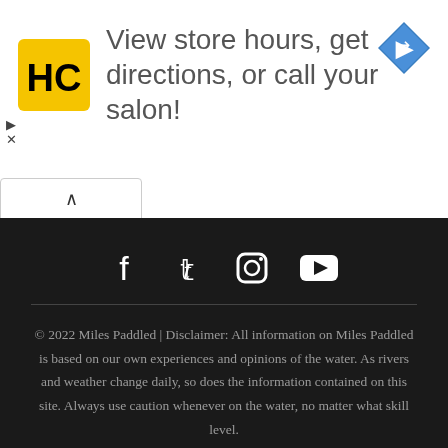[Figure (infographic): Advertisement banner for Hair salon with HC logo on left, navigation arrow icon on right, and text 'View store hours, get directions, or call your salon!']
[Figure (infographic): Footer section with social media icons (Facebook, Twitter, Instagram, YouTube) on dark background]
© 2022 Miles Paddled | Disclaimer: All information on Miles Paddled is based on our own experiences and opinions of the water. As rivers and weather change daily, so does the information contained on this site. Always use caution whenever on the water, no matter what skill level.